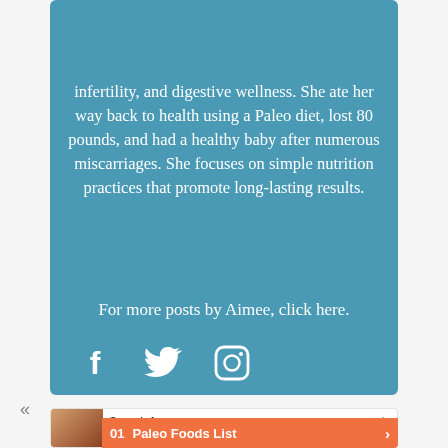infertility, and digestive wellness. She ate her way back to health using a Paleo diet, lost 80 pounds, and had a healthy baby after numerous miscarriages. She focuses on simple nutrition practices that promote long-lasting results.
For more posts by Aimee, click here.
[Figure (infographic): Social media icons: Facebook, Twitter, and Instagram in white on teal background]
[Figure (screenshot): Advertisement: Search for Paleo Foods List with thumbnail image, search interface showing result 01 Paleo Foods List with orange button and arrow]